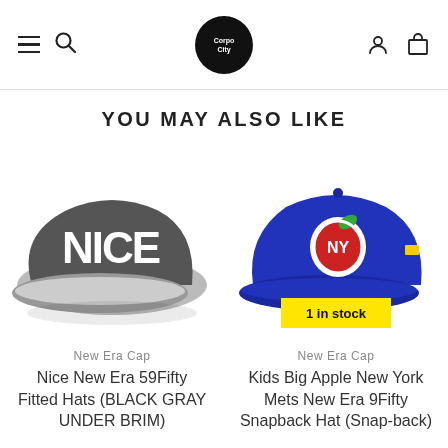[Figure (screenshot): Website header with hamburger menu, search icon, circular logo (Corpo City), user account icon, and shopping cart icon]
YOU MAY ALSO LIKE
[Figure (photo): Gray and white 'NICE' New Era 59Fifty fitted hat, side view showing large white NICE lettering on dark gray cap]
New Era Cap
Nice New Era 59Fifty Fitted Hats (BLACK GRAY UNDER BRIM)
[Figure (photo): Royal blue New York Mets New Era 9Fifty snapback hat with Big Apple logo (red apple with NY Mets logo inside, green leaf), with yellow '1 in stock' badge overlay]
New Era Cap
Kids Big Apple New York Mets New Era 9Fifty Snapback Hat (Snap-back)